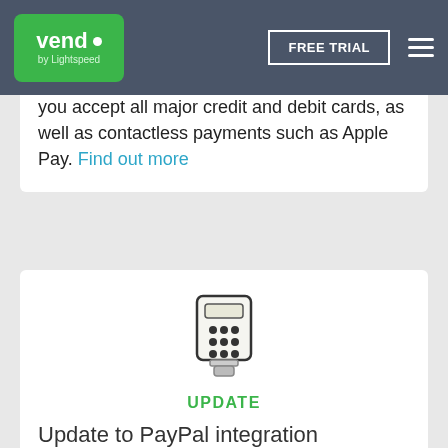Vend by Lightspeed — FREE TRIAL
you accept all major credit and debit cards, as well as contactless payments such as Apple Pay. Find out more
[Figure (illustration): Calculator / payment terminal icon with a green outline, above the word UPDATE in green uppercase letters]
Update to PayPal integration
iOS